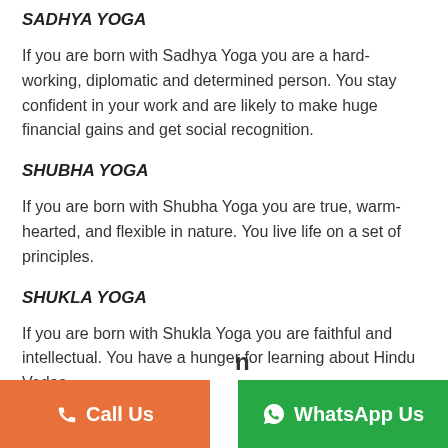SADHYA YOGA
If you are born with Sadhya Yoga you are a hard-working, diplomatic and determined person. You stay confident in your work and are likely to make huge financial gains and get social recognition.
SHUBHA YOGA
If you are born with Shubha Yoga you are true, warm-hearted, and flexible in nature. You live life on a set of principles.
SHUKLA YOGA
If you are born with Shukla Yoga you are faithful and intellectual. You have a hunger for learning about Hindu Vedas
Call Us | WhatsApp Us